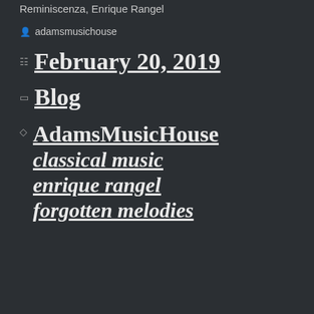Reminiscenza, Enrique Rangel
adamsmusichouse
February 20, 2019
Blog
AdamsMusicHouse
classical music
enrique rangel
forgotten melodies